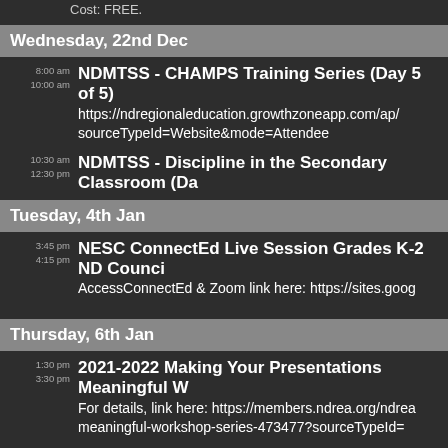Cost: FREE.
Wednesday, 22nd Dec
8:00 am – 10:00 am NDMTSS - CHAMPS Training Series (Day 5 of 5) https://ndregionaleducation.growthzoneapp.com/ap/ sourceTypeId=Website&mode=Attendee
10:30 am – 12:30 pm NDMTSS - Discipline in the Secondary Classroom (Da
Tuesday, 4th Jan
3:45 pm – 4:15 pm NESC ConnectEd Live Session Grades K-2 ND Counci AccessConnectEd & Zoom link here: https://sites.goog
Thursday, 6th Jan
1:30 pm – 3:30 pm 2021-2022 Making Your Presentations Meaningful W For details, link here: https://members.ndrea.org/ndrea meaningful-workshop-series-473477?sourceTypeId=
Friday, 7th Jan
1:30 pm – 3:30 pm 2021-2022 Making Your Presentations Meaningful W